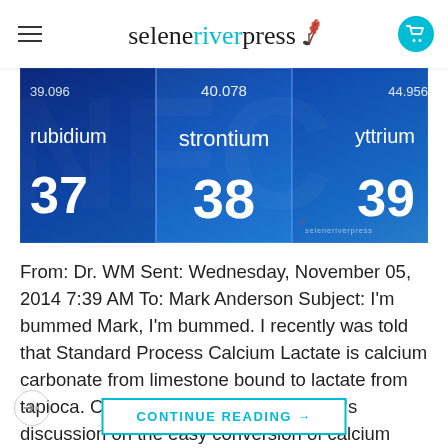seleneriverpress
[Figure (photo): Periodic table elements showing rubidium (37), strontium (38), and yttrium (39) with atomic weights 39.096, 40.078, and 44.956 on a blue gradient background. Selene River Press watermark visible.]
From: Dr. WM Sent: Wednesday, November 05, 2014 7:39 AM To: Mark Anderson Subject: I'm bummed Mark, I'm bummed. I recently was told that Standard Process Calcium Lactate is calcium carbonate from limestone bound to lactate from tapioca. Cripes. It's counter to Courtney's discussion on the easy conversion of calcium lactate to an ionized form, [...]
CONTINUE READING →